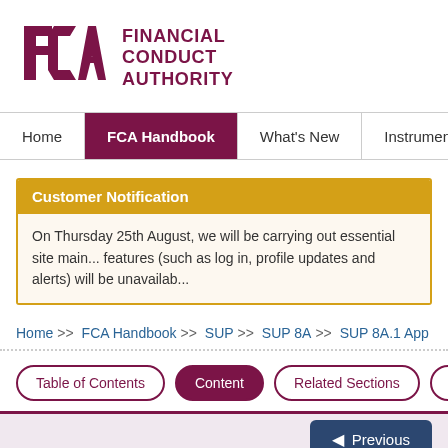[Figure (logo): FCA Financial Conduct Authority logo — purple/maroon FCA geometric lettermark with FINANCIAL CONDUCT AUTHORITY text]
Home | FCA Handbook | What's New | Instruments | Forms | G
Customer Notification
On Thursday 25th August, we will be carrying out essential site main... features (such as log in, profile updates and alerts) will be unavailab...
Home >> FCA Handbook >> SUP >> SUP 8A >> SUP 8A.1 App
Table of Contents | Content | Related Sections | Relate...
◄ Previous